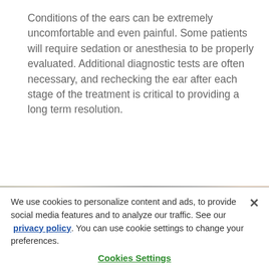Conditions of the ears can be extremely uncomfortable and even painful. Some patients will require sedation or anesthesia to be properly evaluated. Additional diagnostic tests are often necessary, and rechecking the ear after each stage of the treatment is critical to providing a long term resolution.
[Figure (photo): Partial photo strip showing people/pets, cropped at bottom of content area]
We use cookies to personalize content and ads, to provide social media features and to analyze our traffic. See our privacy policy. You can use cookie settings to change your preferences.
Cookies Settings